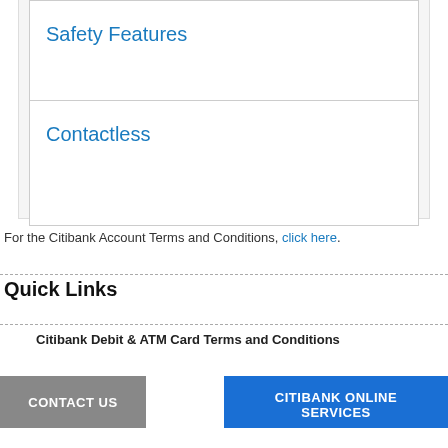Safety Features
Contactless
For the Citibank Account Terms and Conditions, click here.
Quick Links
Citibank Debit & ATM Card Terms and Conditions
CONTACT US
CITIBANK ONLINE SERVICES